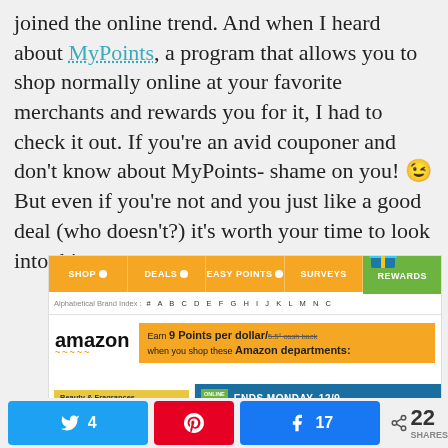joined the online trend. And when I heard about MyPoints, a program that allows you to shop normally online at your favorite merchants and rewards you for it, I had to check it out. If you're an avid couponer and don't know about MyPoints- shame on you! 😉 But even if you're not and you just like a good deal (who doesn't?) it's worth your time to look into this company.
[Figure (screenshot): Screenshot of MyPoints website showing navigation bar with SHOP, DEALS, EASY POINTS, SURVEYS, REWARDS tabs, alphabetical brand index, Amazon logo, and a promo banner: Earn 9 Points per dollar/5.5° cash back when you shop these Amazon departments]
[Figure (screenshot): Screenshot showing category list (Beauty & Fragrances, Books & Magazines) and promotional banner: ONLINE ONLY - ENDS MONDAY, 12/9 - GET MORE SAVE MORE]
[Figure (infographic): Social share bar with Twitter (4), Pinterest, Facebook (17), and total 22 SHARES]